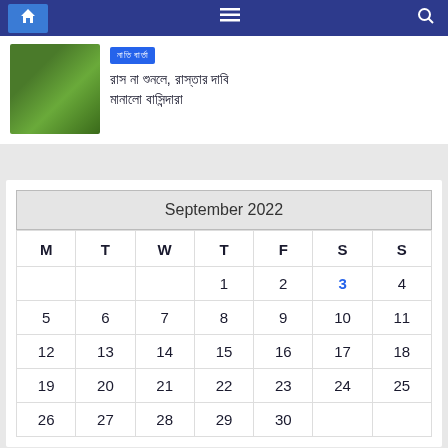Navigation bar with home, menu, and search icons
[Figure (photo): Blurred green plant/foliage photo thumbnail]
[Indic script tag label]
[Indic script headline text - two lines]
| M | T | W | T | F | S | S |
| --- | --- | --- | --- | --- | --- | --- |
|  |  |  | 1 | 2 | 3 | 4 |
| 5 | 6 | 7 | 8 | 9 | 10 | 11 |
| 12 | 13 | 14 | 15 | 16 | 17 | 18 |
| 19 | 20 | 21 | 22 | 23 | 24 | 25 |
| 26 | 27 | 28 | 29 | 30 |  |  |